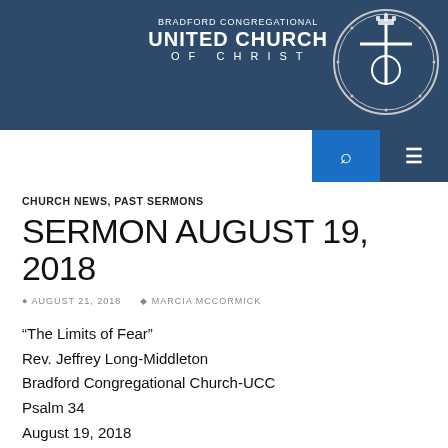[Figure (logo): Bradford Congregational United Church of Christ header with dark blue background, church name text, and circular seal/logo on the right]
CHURCH NEWS, PAST SERMONS
SERMON AUGUST 19, 2018
AUGUST 21, 2018   MARCIA MCCORMICK
“The Limits of Fear”
Rev. Jeffrey Long-Middleton
Bradford Congregational Church-UCC
Psalm 34
August 19, 2018
The word of the Lord...